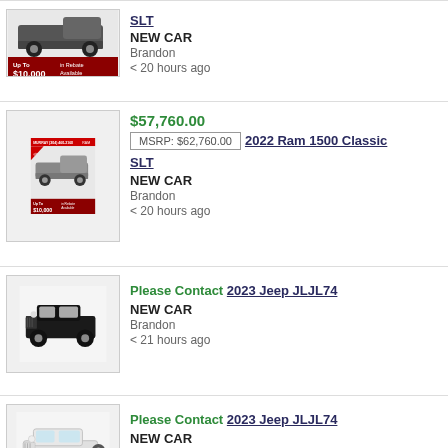[Figure (photo): Ram 1500 Classic SLT truck with red rebate banner showing Up To $10,000 in Rebates Available]
SLT
NEW CAR
Brandon
< 20 hours ago
[Figure (photo): Ram 1500 Classic SLT truck with Murray dealer header and Up To $10,000 in Rebates Available banner]
$57,760.00
MSRP: $62,760.00  2022 Ram 1500 Classic SLT
NEW CAR
Brandon
< 20 hours ago
[Figure (photo): Black 2023 Jeep JLJL74 Wrangler on white background]
Please Contact  2023 Jeep JLJL74
NEW CAR
Brandon
< 21 hours ago
[Figure (photo): White 2023 Jeep JLJL74 Wrangler on white background]
Please Contact  2023 Jeep JLJL74
NEW CAR
Brandon
< 21 hours ago